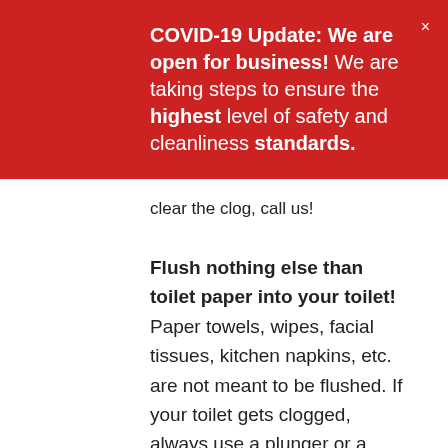COVID-19 Update: We are open for business! We are taking steps to ensure the highest level of safety and cleanliness standards.
clear the clog, call us!
Flush nothing else than toilet paper into your toilet! Paper towels, wipes, facial tissues, kitchen napkins, etc. are not meant to be flushed. If your toilet gets clogged, always use a plunger or a plumber's snake, and nothing else.
If you have a major plumbing issue, call